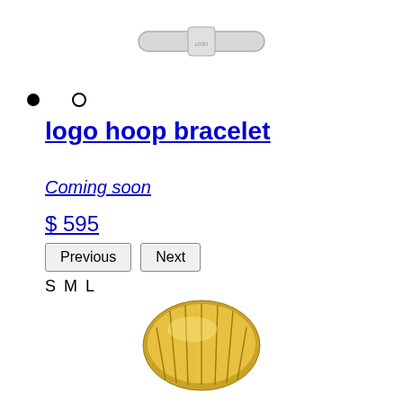[Figure (photo): Silver logo hoop bracelet product photo, shown at top of page]
● ○
logo hoop bracelet
Coming soon
$ 595
Previous  Next
S M L
[Figure (photo): Gold ribbed ring product photo, shown at bottom of page]